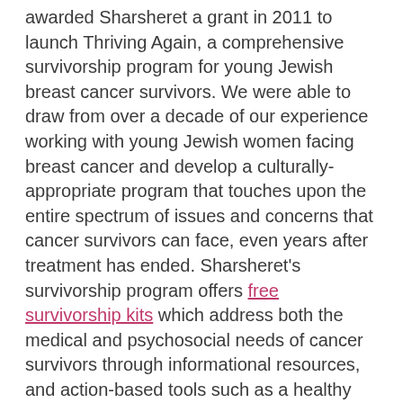awarded Sharsheret a grant in 2011 to launch Thriving Again, a comprehensive survivorship program for young Jewish breast cancer survivors. We were able to draw from over a decade of our experience working with young Jewish women facing breast cancer and develop a culturally-appropriate program that touches upon the entire spectrum of issues and concerns that cancer survivors can face, even years after treatment has ended. Sharsheret's survivorship program offers free survivorship kits which address both the medical and psychosocial needs of cancer survivors through informational resources, and action-based tools such as a healthy living cookbook and fitness DVD.
The program also offers a customized survivorship care plan.  In addition to the survivorship kit, members of our clinical staff work directly with each survivor to develop their own personalized survivorship care plan...